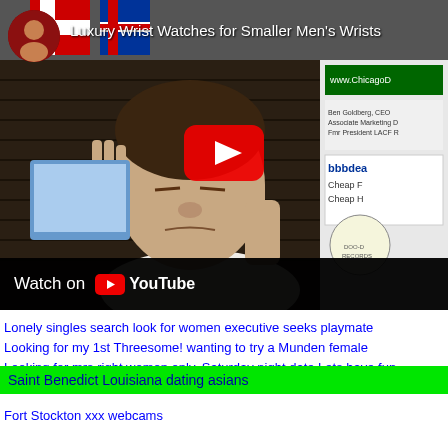[Figure (screenshot): YouTube video thumbnail showing a man squinting/grimacing with his hand raised near his face. Title reads 'Luxury Wrist Watches for Smaller Men's Wrists'. Watch on YouTube bar at bottom of video player.]
Lonely singles search look for women executive seeks playmate Looking for my 1st Threesome! wanting to try a Munden female Looking.for mrs right women only. Saturday night date Lets have fun .
Saint Benedict Louisiana dating asians
Fort Stockton xxx webcams